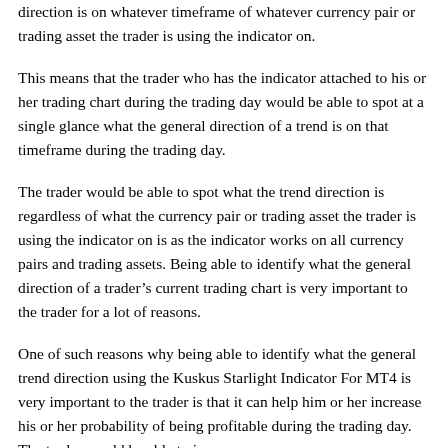direction is on whatever timeframe of whatever currency pair or trading asset the trader is using the indicator on.
This means that the trader who has the indicator attached to his or her trading chart during the trading day would be able to spot at a single glance what the general direction of a trend is on that timeframe during the trading day.
The trader would be able to spot what the trend direction is regardless of what the currency pair or trading asset the trader is using the indicator on is as the indicator works on all currency pairs and trading assets. Being able to identify what the general direction of a trader's current trading chart is very important to the trader for a lot of reasons.
One of such reasons why being able to identify what the general trend direction using the Kuskus Starlight Indicator For MT4 is very important to the trader is that it can help him or her increase his or her probability of being profitable during the trading day. The trader would be able to increase